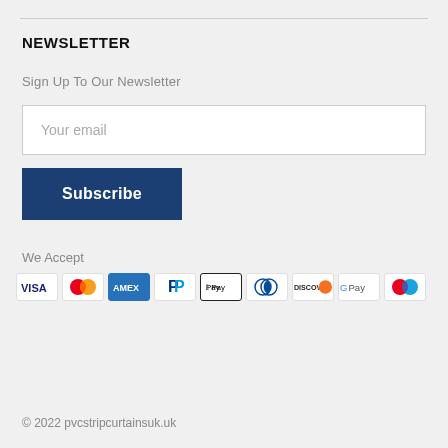NEWSLETTER
Sign Up To Our Newsletter
Your email
Subscribe
We Accept
[Figure (infographic): Payment method icons: VISA, Mastercard, AMEX, PayPal, Apple Pay, Diners Club, Discover, Google Pay, Mastercard (red/blue)]
© 2022 pvcstripcurtainsuk.uk